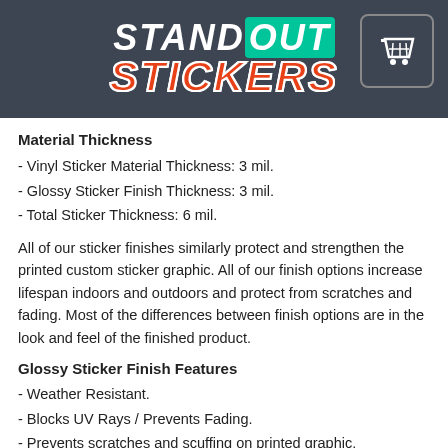[Figure (logo): StandOUT Stickers logo with shopping cart icon on dark background header]
Material Thickness
- Vinyl Sticker Material Thickness: 3 mil.
- Glossy Sticker Finish Thickness: 3 mil.
- Total Sticker Thickness: 6 mil.
All of our sticker finishes similarly protect and strengthen the printed custom sticker graphic. All of our finish options increase lifespan indoors and outdoors and protect from scratches and fading. Most of the differences between finish options are in the look and feel of the finished product.
Glossy Sticker Finish Features
- Weather Resistant.
- Blocks UV Rays / Prevents Fading.
- Prevents scratches and scuffing on printed graphic.
- Suitable for indoor and outdoor use in all weather conditions.